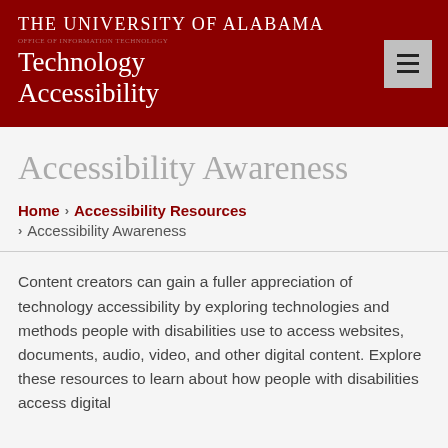THE UNIVERSITY OF ALABAMA
Technology Accessibility
Accessibility Awareness
Home › Accessibility Resources › Accessibility Awareness
Content creators can gain a fuller appreciation of technology accessibility by exploring technologies and methods people with disabilities use to access websites, documents, audio, video, and other digital content. Explore these resources to learn about how people with disabilities access digital